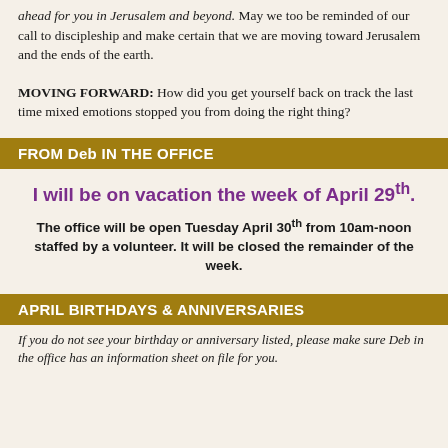ahead for you in Jerusalem and beyond. May we too be reminded of our call to discipleship and make certain that we are moving toward Jerusalem and the ends of the earth.
MOVING FORWARD: How did you get yourself back on track the last time mixed emotions stopped you from doing the right thing?
FROM Deb IN THE OFFICE
I will be on vacation the week of April 29th.
The office will be open Tuesday April 30th from 10am-noon staffed by a volunteer. It will be closed the remainder of the week.
APRIL BIRTHDAYS & ANNIVERSARIES
If you do not see your birthday or anniversary listed, please make sure Deb in the office has an information sheet on file for you.